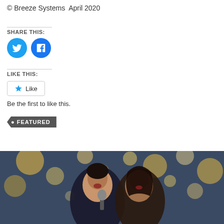© Breeze Systems  April 2020
SHARE THIS:
[Figure (illustration): Twitter and Facebook social share buttons as blue circles with white icons]
LIKE THIS:
[Figure (illustration): Like button with star icon and text 'Like']
Be the first to like this.
FEATURED
[Figure (photo): A man and woman singing together into a microphone with bokeh lights in background]